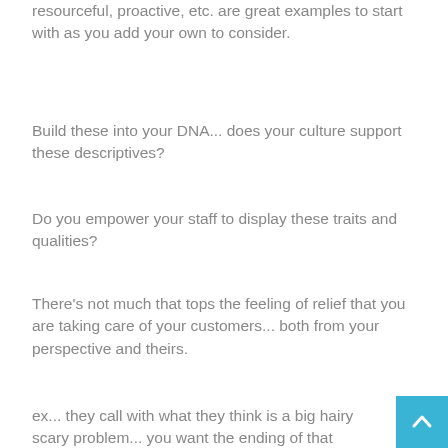resourceful, proactive, etc. are great examples to start with as you add your own to consider.
Build these into your DNA... does your culture support these descriptives?
Do you empower your staff to display these traits and qualities?
There's not much that tops the feeling of relief that you are taking care of your customers... both from your perspective and theirs.
ex... they call with what they think is a big hairy scary problem... you want the ending of that conversation or issue resolution to be one of